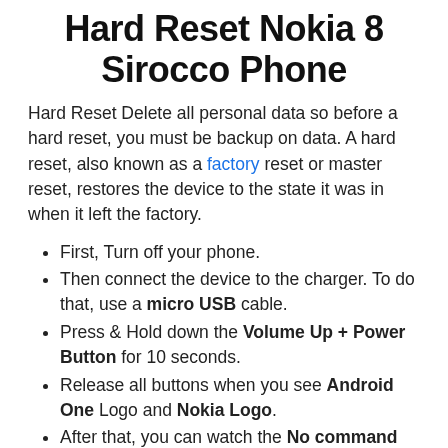Hard Reset Nokia 8 Sirocco Phone
Hard Reset Delete all personal data so before a hard reset, you must be backup on data. A hard reset, also known as a factory reset or master reset, restores the device to the state it was in when it left the factory.
First, Turn off your phone.
Then connect the device to the charger. To do that, use a micro USB cable.
Press & Hold down the Volume Up + Power Button for 10 seconds.
Release all buttons when you see Android One Logo and Nokia Logo.
After that, you can watch the No command Icon.